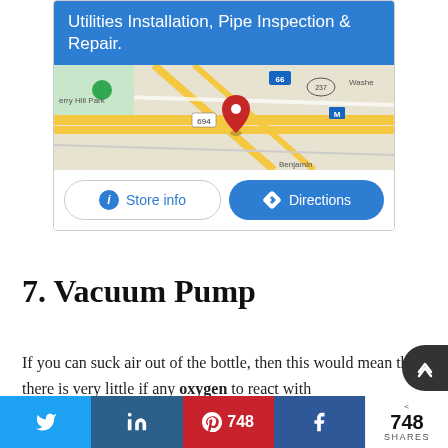[Figure (screenshot): Google Maps business listing card with blue header text 'Utilities Installation, Pipe Inspection & Repair.', a map view showing roads near Cherry Hill Park with a red location pin, and two buttons: 'Store info' and 'Directions']
7. Vacuum Pump
If you can suck air out of the bottle, then this would mean that there is very little if any oxygen to react with
[Figure (screenshot): Social share bar with Twitter, LinkedIn, Pinterest (748), Facebook buttons, and a share count showing 748 SHARES]